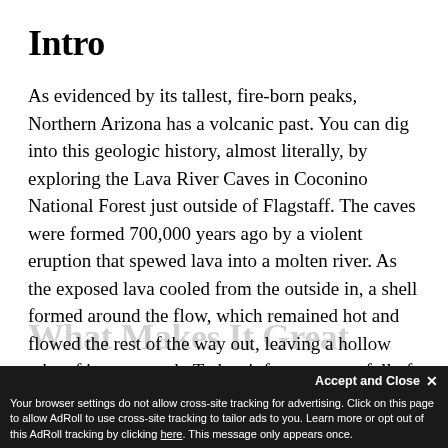Intro
As evidenced by its tallest, fire-born peaks, Northern Arizona has a volcanic past. You can dig into this geologic history, almost literally, by exploring the Lava River Caves in Coconino National Forest just outside of Flagstaff. The caves were formed 700,000 years ago by a violent eruption that spewed lava into a molten river. As the exposed lava cooled from the outside in, a shell formed around the flow, which remained hot and flowed the rest of the way out, leaving a hollow tube of igneous rock. Today, it forms a cave full of wild lava formations frozen in time.
Accept and Close ✕ Your browser settings do not allow cross-site tracking for advertising. Click on this page to allow AdRoll to use cross-site tracking to tailor ads to you. Learn more or opt out of this AdRoll tracking by clicking here. This message only appears once.